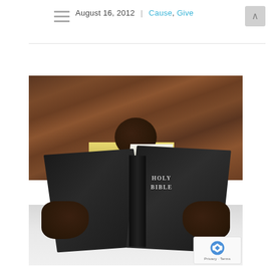August 16, 2012 | Cause, Give
[Figure (photo): A child holding up an open Holy Bible, with only the top of the child's head visible above the book. The Bible is black with gold-edged pages. The background shows wooden planks. The child is lying on white sheets.]